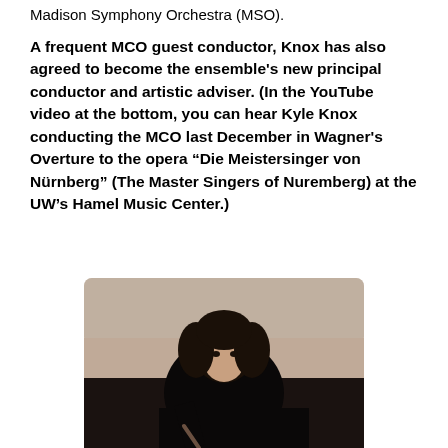Madison Symphony Orchestra (MSO).
A frequent MCO guest conductor, Knox has also agreed to become the ensemble's new principal conductor and artistic adviser. (In the YouTube video at the bottom, you can hear Kyle Knox conducting the MCO last December in Wagner's Overture to the opera “Die Meistersinger von Nürnberg” (The Master Singers of Nuremberg) at the UW’s Hamel Music Center.)
[Figure (photo): Portrait photo of Kyle Knox, a man with dark curly hair wearing a black shirt, holding a conductor's baton, photographed against a light architectural background with a curved wall.]